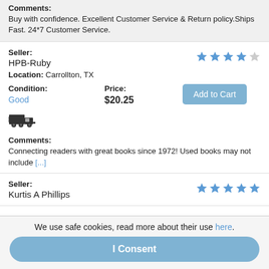Comments: Buy with confidence. Excellent Customer Service & Return policy.Ships Fast. 24*7 Customer Service.
Seller: HPB-Ruby
Location: Carrollton, TX
Condition: Good
Price: $20.25
Add to Cart
[Figure (other): Truck/shipping icon]
Comments: Connecting readers with great books since 1972! Used books may not include [...]
Seller: Kurtis A Phillips
We use safe cookies, read more about their use here.
I Consent